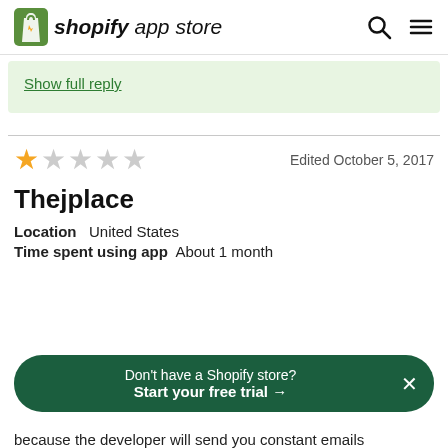shopify app store
Show full reply
Edited October 5, 2017
Thejplace
Location   United States
Time spent using app   About 1 month
Don't have a Shopify store? Start your free trial →
because the developer will send you constant emails